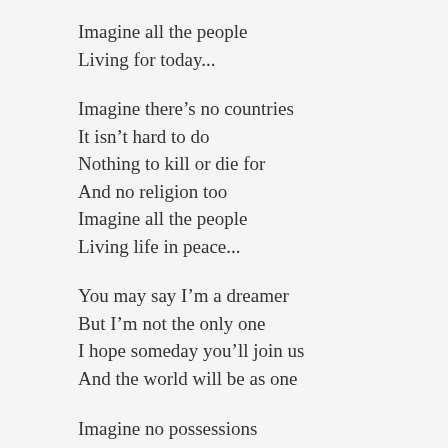Imagine all the people
Living for today...
Imagine there’s no countries
It isn’t hard to do
Nothing to kill or die for
And no religion too
Imagine all the people
Living life in peace...
You may say I’m a dreamer
But I’m not the only one
I hope someday you’ll join us
And the world will be as one
Imagine no possessions
I wonder if you can
No need for greed or hunger
A brotherhood of man